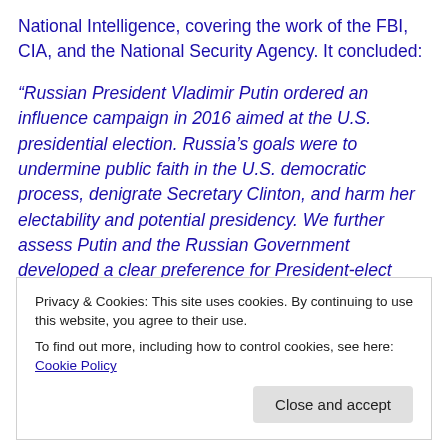National Intelligence, covering the work of the FBI, CIA, and the National Security Agency. It concluded:
“Russian President Vladimir Putin ordered an influence campaign in 2016 aimed at the U.S. presidential election. Russia’s goals were to undermine public faith in the U.S. democratic process, denigrate Secretary Clinton, and harm her electability and potential presidency. We further assess Putin and the Russian Government developed a clear preference for President-elect Trump. We have high confidence in these judgments.”
Privacy & Cookies: This site uses cookies. By continuing to use this website, you agree to their use.
To find out more, including how to control cookies, see here: Cookie Policy